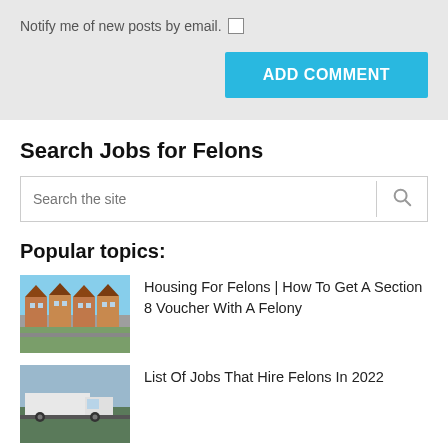Notify me of new posts by email.
ADD COMMENT
Search Jobs for Felons
Search the site
Popular topics:
[Figure (photo): Row of orange brick terraced houses]
Housing For Felons | How To Get A Section 8 Voucher With A Felony
[Figure (photo): White truck on a road]
List Of Jobs That Hire Felons In 2022
[Figure (photo): Moving truck / vehicle]
Trucking Companies That Hire